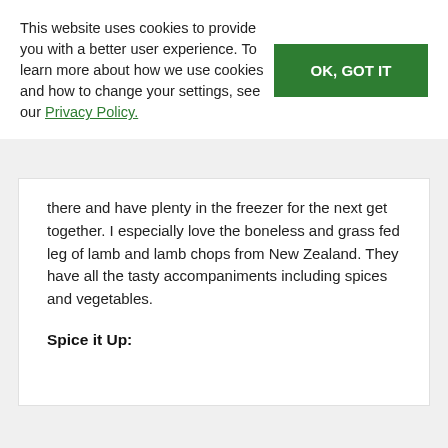This website uses cookies to provide you with a better user experience. To learn more about how we use cookies and how to change your settings, see our Privacy Policy.
OK, GOT IT
there and have plenty in the freezer for the next get together. I especially love the boneless and grass fed leg of lamb and lamb chops from New Zealand. They have all the tasty accompaniments including spices and vegetables.
Spice it Up: